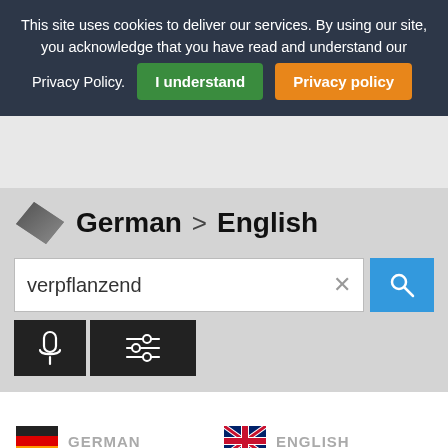This site uses cookies to deliver our services. By using our site, you acknowledge that you have read and understand our Privacy Policy. I understand   Privacy policy
[Figure (screenshot): Translation search widget showing a diamond-shaped logo, language pair German > English, a search input box with the text 'verpflanzend', a clear (×) button, a blue search button, a microphone icon button, and a settings/sliders icon button]
GERMAN   ENGLISH